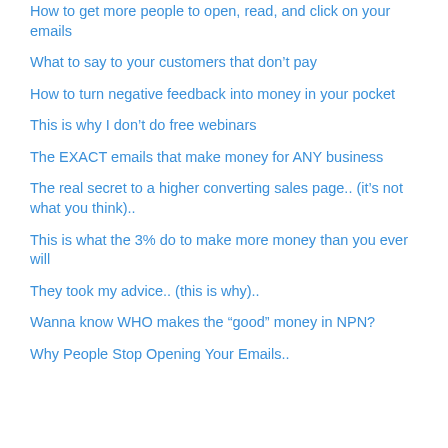How to get more people to open, read, and click on your emails
What to say to your customers that don’t pay
How to turn negative feedback into money in your pocket
This is why I don’t do free webinars
The EXACT emails that make money for ANY business
The real secret to a higher converting sales page.. (it’s not what you think)..
This is what the 3% do to make more money than you ever will
They took my advice.. (this is why)..
Wanna know WHO makes the “good” money in NPN?
Why People Stop Opening Your Emails..